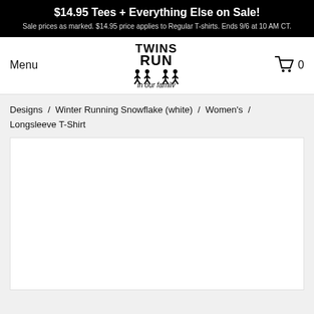$14.95 Tees + Everything Else on Sale! Sale prices as marked. $14.95 price applies to Regular T-shirts. Ends 9/6 at 10 AM CT.
[Figure (logo): Twins Run in our family logo — bold block text with silhouette runners]
Menu
[Figure (other): Shopping cart icon with count 0]
Designs  /  Winter Running Snowflake (white)  /  Women's  /  Longsleeve T-Shirt
[Figure (photo): Product image area — white/blank product photo placeholder]